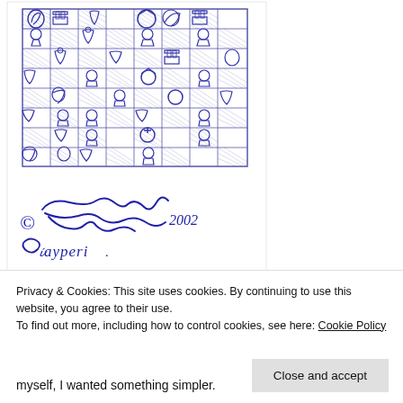[Figure (illustration): Hand-drawn chess board sketch in blue ink showing chess pieces on a grid, with a handwritten signature below reading 'c [signature] 2002 Gasperi.' The chess board shows various pieces in play position drawn in a loose sketchy style.]
Privacy & Cookies: This site uses cookies. By continuing to use this website, you agree to their use.
To find out more, including how to control cookies, see here: Cookie Policy
Close and accept
myself, I wanted something simpler.